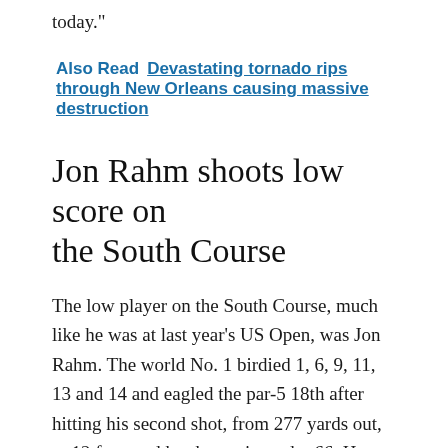today.
Also Read  Devastating tornado rips through New Orleans causing massive destruction
Jon Rahm shoots low score on the South Course
The low player on the South Course, much like he was at last year's US Open, was Jon Rahm. The world No. 1 birdied 1, 6, 9, 11, 13 and 14 and eagled the par-5 18th after hitting his second shot, from 277 yards out, to 12 feet, and he shot a six-under 66. He was tied with Rickie Fowler, Doug Chim and Francesco Molinari, who all